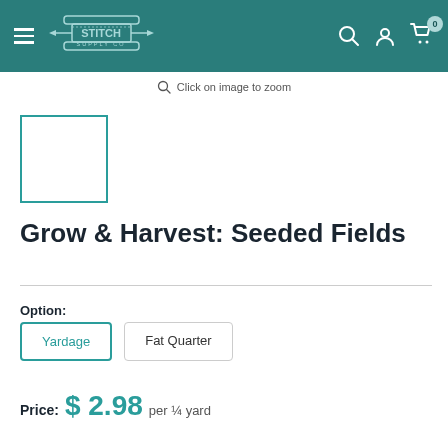Stitch Supply Co — navigation header
Click on image to zoom
[Figure (other): Small product thumbnail image box with teal border]
Grow & Harvest: Seeded Fields
Option:
Yardage
Fat Quarter
Price: $ 2.98 per ¼ yard